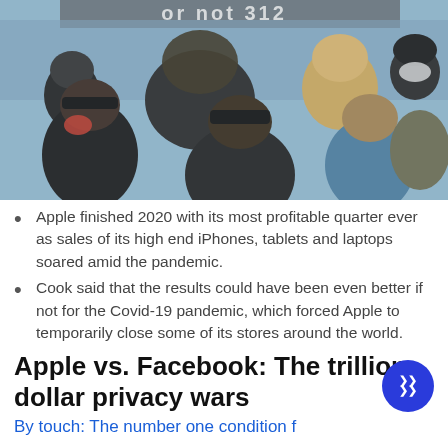[Figure (photo): Overhead/rear view of a crowd of people wearing masks outdoors, blurred background with sign text partially visible at top reading something like 'or not 312']
Apple finished 2020 with its most profitable quarter ever as sales of its high end iPhones, tablets and laptops soared amid the pandemic.
Cook said that the results could have been even better if not for the Covid-19 pandemic, which forced Apple to temporarily close some of its stores around the world.
Apple vs. Facebook: The trillion-dollar privacy wars
By touch: The number one condition f...